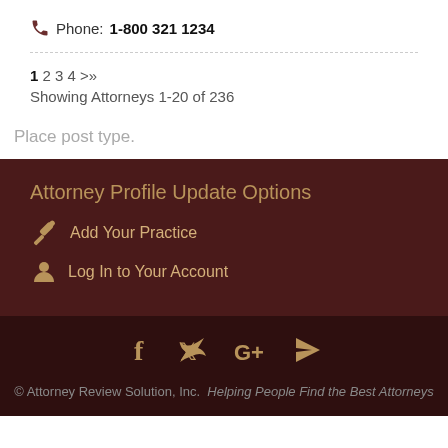Phone: 1-800 321 1234
1 2 3 4 >»
Showing Attorneys 1-20 of 236
Place post type.
Attorney Profile Update Options
Add Your Practice
Log In to Your Account
© Attorney Review Solution, Inc. Helping People Find the Best Attorneys